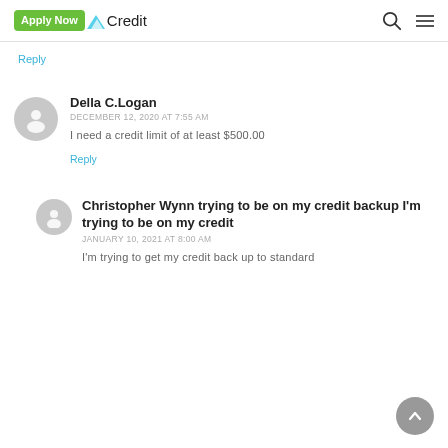Apply Now Credit
Reply
Della C.Logan
DECEMBER 12, 2020 AT 7:55 AM
I need a credit limit of at least $500.00
Reply
Christopher Wynn trying to be on my credit backup I'm trying to be on my credit
JANUARY 10, 2021 AT 8:00 AM
I'm trying to get my credit back up to standard